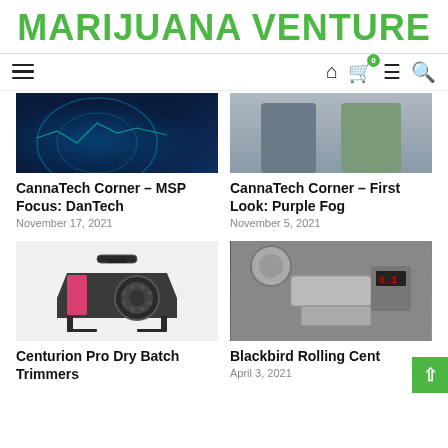MARIJUANA VENTURE
[Figure (screenshot): Navigation bar with hamburger menu, home icon, cart with badge '0', menu icon, search icon]
[Figure (photo): Dark blue tech/digital background with glowing circles and waveforms]
[Figure (photo): Two people standing, partial torsos visible]
CannaTech Corner – MSP Focus: DanTech
November 17, 2021
CannaTech Corner – First Look: Purple Fog
November 5, 2021
[Figure (photo): Industrial drum trimmer machine, dark gray/black color with pink interior, circular perforated drum, metal stand]
[Figure (photo): Close-up of rolling/packaging machine with metal components and digital display]
Centurion Pro Dry Batch Trimmers
Blackbird Rolling Cent
April 3, 2021